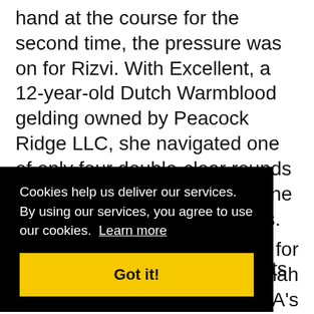hand at the course for the second time, the pressure was on for Rizvi. With Excellent, a 12-year-old Dutch Warmblood gelding owned by Peacock Ridge LLC, she navigated one of only four double-clear rounds from the day, securing her Zone 4 team the gold medal honors.
Canada notched just four faults during Friday
er for annah USA's e
Cookies help us deliver our services. By using our services, you agree to use our cookies. Learn more
Got it!
over the next couple of years, because they're all young